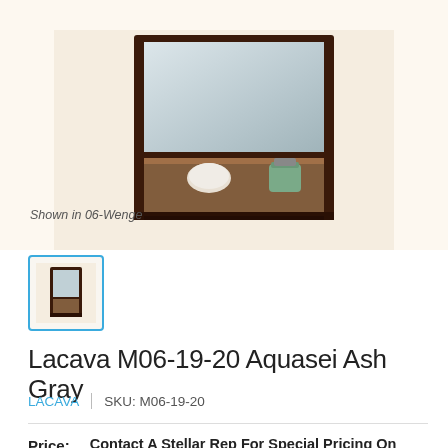[Figure (photo): Photo of a wooden mirror cabinet with a shelf below the mirror, containing a white pebble and a green candle jar, shown against a light cream/tile background. Caption reads 'Shown in 06-Wenge'.]
Shown in 06-Wenge
[Figure (photo): Small thumbnail image of the Lacava mirror cabinet product, selected with a blue border.]
Lacava M06-19-20 Aquasei Ash Gray
LACAVA | SKU: M06-19-20
Price: Contact A Stellar Rep For Special Pricing On Lacava
Call us!